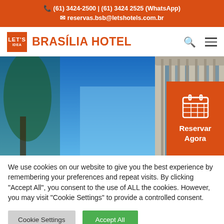☎ (61) 3424-2500 | (61) 3424 2525 (WhatsApp)
✉ reservas.bsb@letshotels.com.br
BRASÍLIA HOTEL
[Figure (photo): Exterior photo of the Brasília Hotel building with blue sky background and trees in foreground. An orange 'Reservar Agora' (Book Now) button with calendar icon overlays the bottom right corner.]
We use cookies on our website to give you the best experience by remembering your preferences and repeat visits. By clicking "Accept All", you consent to the use of ALL the cookies. However, you may visit "Cookie Settings" to provide a controlled consent.
Cookie Settings
Accept All